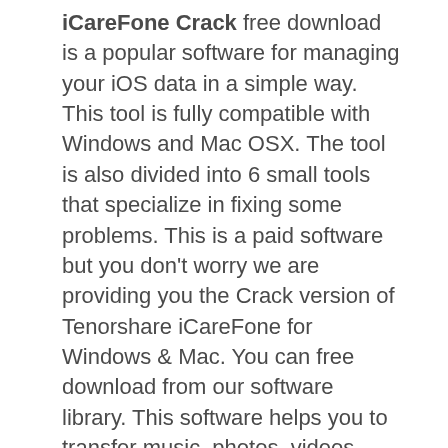iCareFone Crack free download is a popular software for managing your iOS data in a simple way. This tool is fully compatible with Windows and Mac OSX. The tool is also divided into 6 small tools that specialize in fixing some problems. This is a paid software but you don't worry we are providing you the Crack version of Tenorshare iCareFone for Windows & Mac. You can free download from our software library. This software helps you to transfer music, photos, videos, contacts, SMS without limitation. The usage of this software is very easy and simple for everyone.